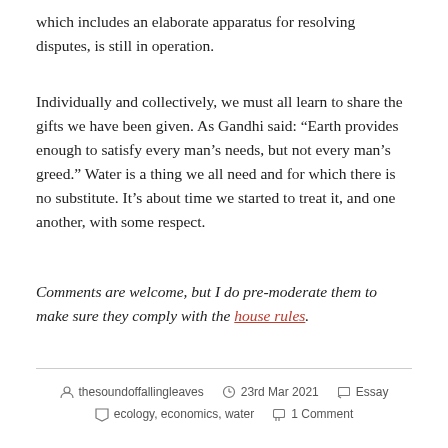which includes an elaborate apparatus for resolving disputes, is still in operation.
Individually and collectively, we must all learn to share the gifts we have been given. As Gandhi said: “Earth provides enough to satisfy every man’s needs, but not every man’s greed.” Water is a thing we all need and for which there is no substitute. It’s about time we started to treat it, and one another, with some respect.
Comments are welcome, but I do pre-moderate them to make sure they comply with the house rules.
thesoundoffallingleaves  23rd Mar 2021  Essay  ecology, economics, water  1 Comment